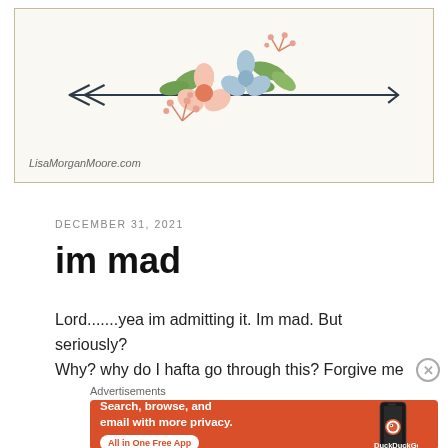[Figure (illustration): Decorative banner with a floral arrow illustration — a dark navy arrow pointing right with flower and leaf decorations at center (pink, blue, coral flowers with green leaves). Site URL 'LisaMorganMoore.com' at bottom left. Cream/off-white background with a thin border.]
DECEMBER 31, 2021
im mad
Lord.......yea im admitting it. Im mad. But seriously? Why? why do I hafta go through this? Forgive me
Advertisements
[Figure (screenshot): DuckDuckGo advertisement banner on orange/red background. Text: 'Search, browse, and email with more privacy. All in One Free App' with DuckDuckGo logo and phone image.]